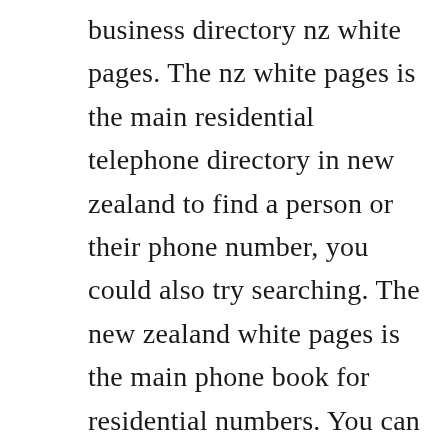business directory nz white pages. The nz white pages is the main residential telephone directory in new zealand to find a person or their phone number, you could also try searching. The new zealand white pages is the main phone book for residential numbers. You can also search nz on the international white pages for general information from the localnational web in new zealand. New zealand travel organiser specialises in booking custom new zealand holiday packages inclusive of all accommodation, mustdo activities and transport rental car, coach or